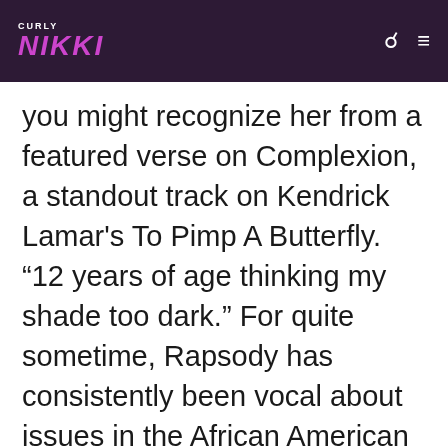CURLY NIKKI
you might recognize her from a featured verse on Complexion, a standout track on Kendrick Lamar's To Pimp A Butterfly. "12 years of age thinking my shade too dark." For quite sometime, Rapsody has consistently been vocal about issues in the African American community such as colorism, inequalities and injustice. Her deal with Roc Nation will undoubtedly allow her a larger platform to share her music and could potentially align exclusive releases on Tidal. Become more